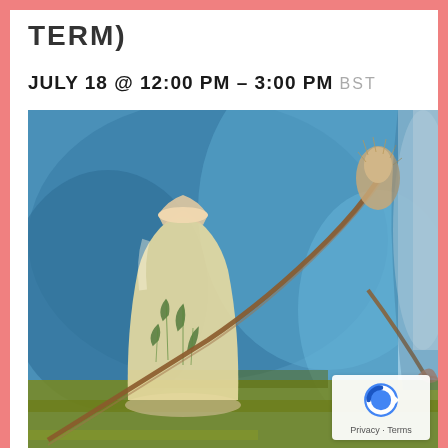TERM)
JULY 18 @ 12:00 PM – 3:00 PM BST
[Figure (illustration): A painted still life artwork featuring a cream/yellow glass vase with green plant motifs, set against a vibrant blue background with flowing drapery. A brown branch with a dried flower/thistle head extends diagonally across the scene. Olive/yellow-green horizontal strokes appear at the bottom, and there are additional warm-toned elements at the right.]
Privacy · Terms